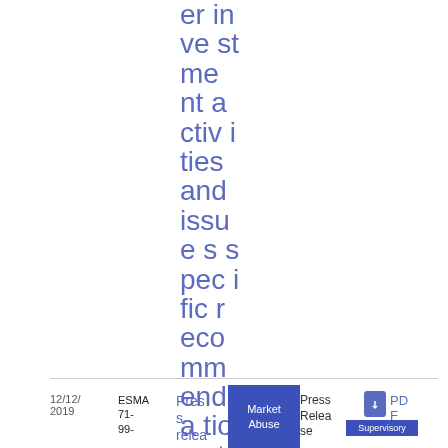er investment activities and issues specific recommendations to CySEC
12/12/2019  ESMA 71-99-  Pres s relea  Market Abuse  Press Relea se  PDF  Supervisory